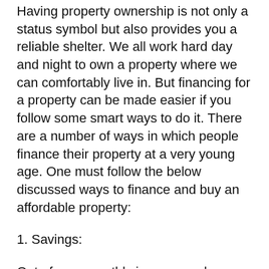Having property ownership is not only a status symbol but also provides you a reliable shelter. We all work hard day and night to own a property where we can comfortably live in. But financing for a property can be made easier if you follow some smart ways to do it. There are a number of ways in which people finance their property at a very young age. One must follow the below discussed ways to finance and buy an affordable property:
1. Savings:
Out of your monthly income, make sure that sure save some amount of money. You can achieve your goals, which is buying a property with that savings. If you are able to save consistently for enough period of months, then you will see your saving growing. Many people have built their empire from their savings. If you are able